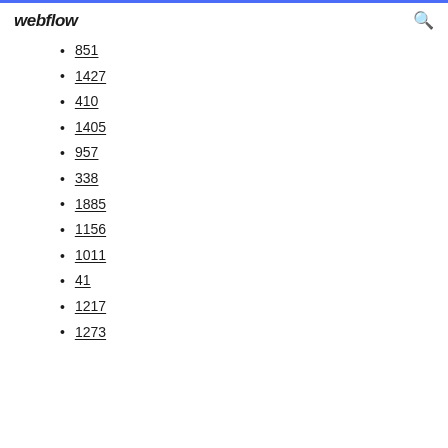webflow
851
1427
410
1405
957
338
1885
1156
1011
41
1217
1273